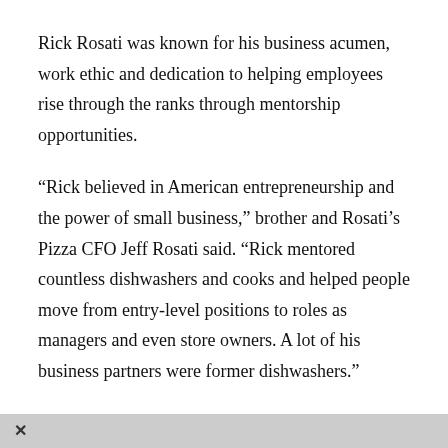Rick Rosati was known for his business acumen, work ethic and dedication to helping employees rise through the ranks through mentorship opportunities.
“Rick believed in American entrepreneurship and the power of small business,” brother and Rosati’s Pizza CFO Jeff Rosati said. “Rick mentored countless dishwashers and cooks and helped people move from entry-level positions to roles as managers and even store owners. A lot of his business partners were former dishwashers.”
“This isn’t just a professional loss for our franchisees; it’s personal,” sister Regina Rosati said. “A lot of our store owners have known Rick since they were teenagers. He was a father figure and friend who took a personal interest in his colleagues.”
Rick Rosati was born in Chicago on Dec. 31, 1949, and raised in
×